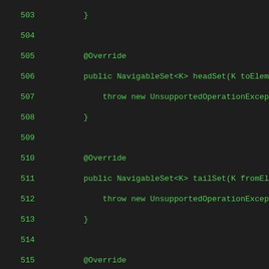[Figure (screenshot): Java source code listing showing lines 503-531, with line numbers in green on the left and code in green monospace font on dark background. Methods include headSet, tailSet, comparator, subSet, headSet, tailSet with @Override annotations. Code is clipped on the right side.]